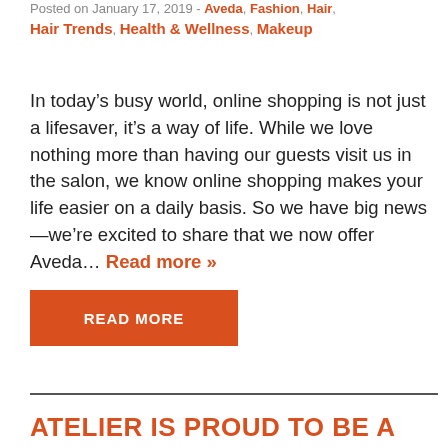Posted on January 17, 2019 - Aveda, Fashion, Hair, Hair Trends, Health & Wellness, Makeup
In today’s busy world, online shopping is not just a lifesaver, it’s a way of life. While we love nothing more than having our guests visit us in the salon, we know online shopping makes your life easier on a daily basis. So we have big news—we’re excited to share that we now offer Aveda… Read more »
READ MORE
ATELIER IS PROUD TO BE A TOP